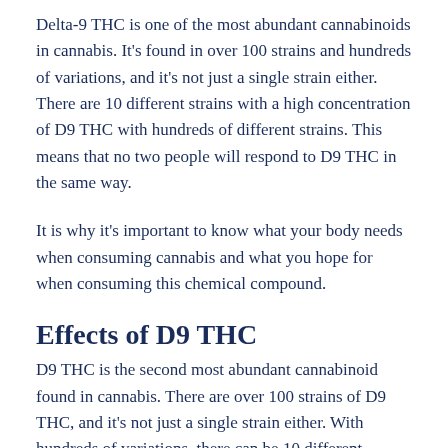Delta-9 THC is one of the most abundant cannabinoids in cannabis. It's found in over 100 strains and hundreds of variations, and it's not just a single strain either. There are 10 different strains with a high concentration of D9 THC with hundreds of different strains. This means that no two people will respond to D9 THC in the same way.
It is why it's important to know what your body needs when consuming cannabis and what you hope for when consuming this chemical compound.
Effects of D9 THC
D9 THC is the second most abundant cannabinoid found in cannabis. There are over 100 strains of D9 THC, and it's not just a single strain either. With hundreds of variations, there can be 10 different